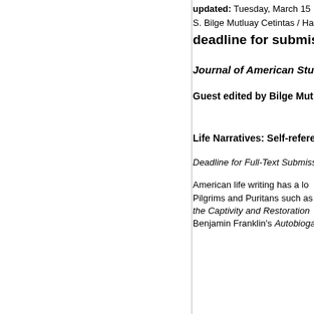updated: Tuesday, March 15
S. Bilge Mutluay Cetintas / Ha
deadline for submiss
Journal of American Studie
Guest edited by Bilge Mut
Life Narratives: Self-refere
Deadline for Full-Text Submiss
American life writing has a lo
Pilgrims and Puritans such as
the Captivity and Restoration
Benjamin Franklin's Autobioga